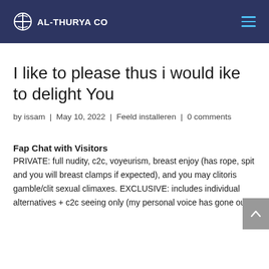AL-THURYA CO
I like to please thus i would ike to delight You
by issam | May 10, 2022 | Feeld installeren | 0 comments
Fap Chat with Visitors
PRIVATE: full nudity, c2c, voyeurism, breast enjoy (has rope, spit and you will breast clamps if expected), and you may clitoris gamble/clit sexual climaxes. EXCLUSIVE: includes individual alternatives + c2c seeing only (my personal voice has gone out),